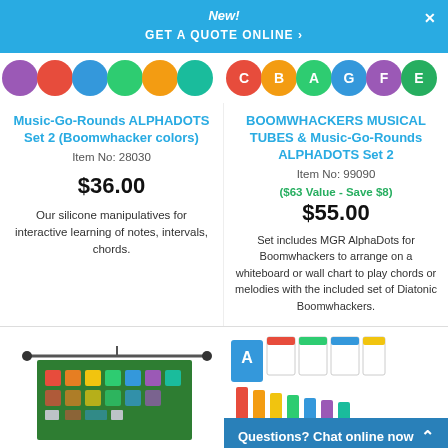New!
GET A QUOTE ONLINE ›
[Figure (photo): Colorful music manipulative dots/discs for product 1]
[Figure (photo): Colorful Boomwhackers letter discs for product 2]
Music-Go-Rounds ALPHADOTS Set 2 (Boomwhacker colors)
Item No: 28030
$36.00
Our silicone manipulatives for interactive learning of notes, intervals, chords.
BOOMWHACKERS MUSICAL TUBES & Music-Go-Rounds ALPHADOTS Set 2
Item No: 99090
($63 Value - Save $8)
$55.00
Set includes MGR AlphaDots for Boomwhackers to arrange on a whiteboard or wall chart to play chords or melodies with the included set of Diatonic Boomwhackers.
[Figure (photo): Wall chart display with colorful music manipulatives]
[Figure (photo): Colorful flashcards and xylophone/tubes]
Questions? Chat online now